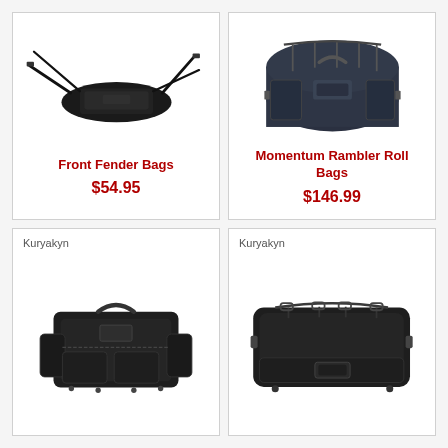[Figure (photo): Front Fender Bags product photo - black motorcycle fender bag with straps]
Front Fender Bags
$54.95
[Figure (photo): Momentum Rambler Roll Bags product photo - cylindrical black roll bag]
Momentum Rambler Roll Bags
$146.99
Kuryakyn
[Figure (photo): Kuryakyn black motorcycle luggage bag - soft-sided rectangular bag with side pockets]
Kuryakyn
[Figure (photo): Kuryakyn black motorcycle rack bag - large rectangular tail bag]